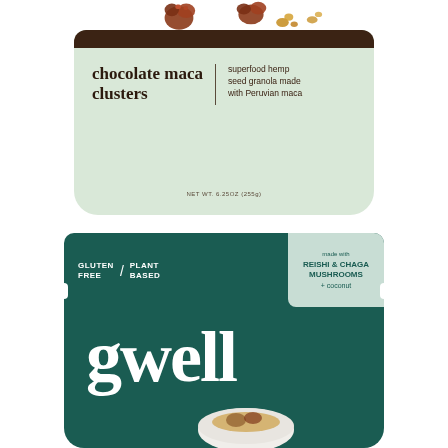[Figure (photo): Product packaging for 'chocolate maca clusters' superfood hemp seed granola made with Peruvian maca. Light green pouch bag with dark brown header strip, granola clusters scattered on top, text reads 'chocolate maca clusters | superfood hemp seed granola made with Peruvian maca', NET WT. 6.25OZ (255g) at bottom.]
[Figure (photo): Product packaging for 'gwell' brand granola. Dark teal/green standing pouch with white bold brand name 'gwell' in large serif font. Top label area reads 'GLUTEN FREE / PLANT BASED' on left and a light green badge on right reads 'made with REISHI & CHAGA MUSHROOMS + coconut'. A white coconut half with granola visible at the bottom of the bag.]